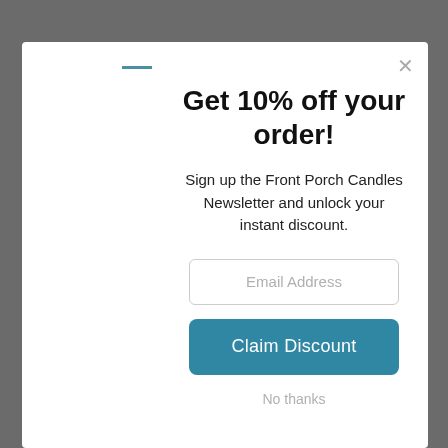Get 10% off your order!
Sign up the Front Porch Candles Newsletter and unlock your instant discount.
Email Address
Claim Discount
No thanks